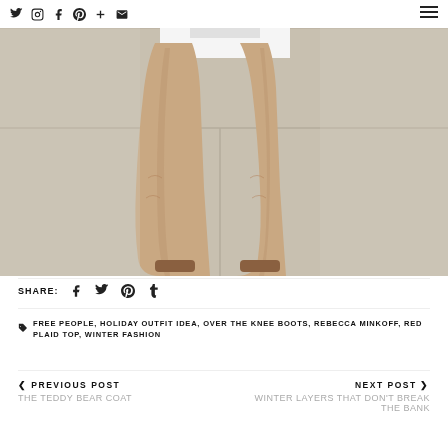Navigation icons: twitter, instagram, facebook, pinterest, plus, email, hamburger menu
[Figure (photo): Close-up photo of a person wearing tan/nude over-the-knee suede boots standing on a concrete surface, with white clothing visible at top]
SHARE: [facebook] [twitter] [pinterest] [tumblr]
FREE PEOPLE, HOLIDAY OUTFIT IDEA, OVER THE KNEE BOOTS, REBECCA MINKOFF, RED PLAID TOP, WINTER FASHION
< PREVIOUS POST
THE TEDDY BEAR COAT
NEXT POST >
WINTER LAYERS THAT DON'T BREAK THE BANK